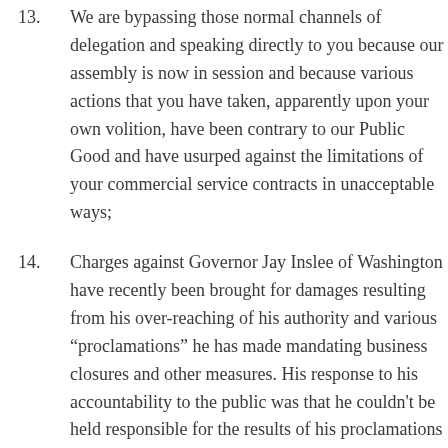13. We are bypassing those normal channels of delegation and speaking directly to you because our assembly is now in session and because various actions that you have taken, apparently upon your own volition, have been contrary to our Public Good and have usurped against the limitations of your commercial service contracts in unacceptable ways;
14. Charges against Governor Jay Inslee of Washington have recently been brought for damages resulting from his over-reaching of his authority and various “proclamations” he has made mandating business closures and other measures. His response to his accountability to the public was that he couldn't be held responsible for the results of his proclamations because he never enforced them. He blamed the victims. It was their fault that they mistook